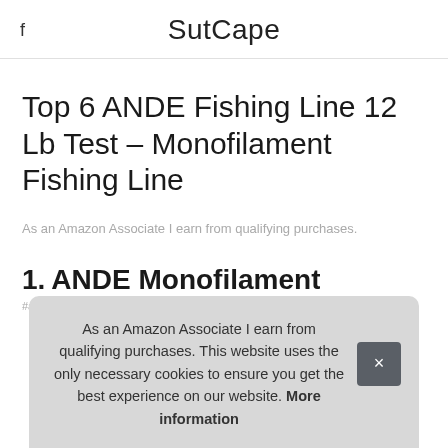SutCape
Top 6 ANDE Fishing Line 12 Lb Test – Monofilament Fishing Line
As an Amazon Associate I earn from qualifying purchases.
1. ANDE Monofilament
#ad
As an Amazon Associate I earn from qualifying purchases. This website uses the only necessary cookies to ensure you get the best experience on our website. More information